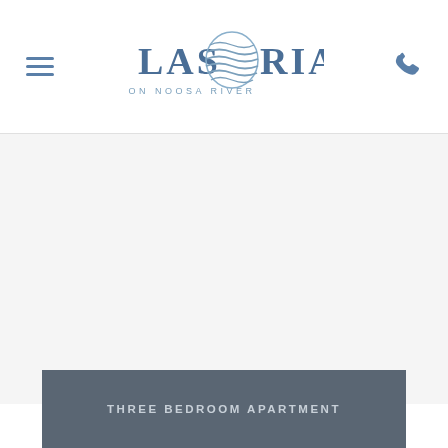Las Rias on Noosa River — navigation header with hamburger menu and phone icon
[Figure (logo): Las Rias on Noosa River logo — stylized text with wave/globe graphic between LAS and RIAS, tagline ON NOOSA RIVER below]
[Figure (photo): Large light gray placeholder/image area below header]
THREE BEDROOM APARTMENT